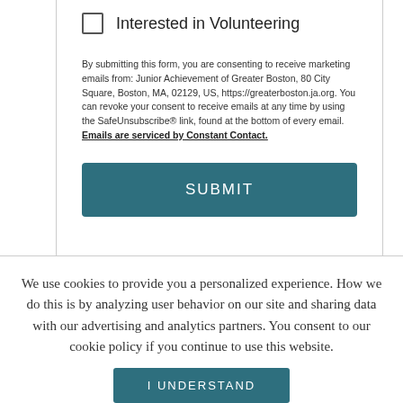Interested in Volunteering
By submitting this form, you are consenting to receive marketing emails from: Junior Achievement of Greater Boston, 80 City Square, Boston, MA, 02129, US, https://greaterboston.ja.org. You can revoke your consent to receive emails at any time by using the SafeUnsubscribe® link, found at the bottom of every email. Emails are serviced by Constant Contact.
SUBMIT
We use cookies to provide you a personalized experience. How we do this is by analyzing user behavior on our site and sharing data with our advertising and analytics partners. You consent to our cookie policy if you continue to use this website.
I UNDERSTAND